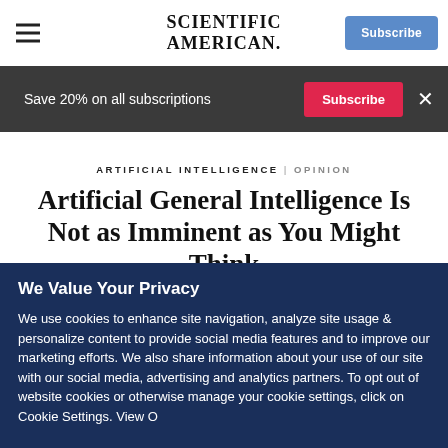SCIENTIFIC AMERICAN
Save 20% on all subscriptions
ARTIFICIAL INTELLIGENCE | OPINION
Artificial General Intelligence Is Not as Imminent as You Might Think
We Value Your Privacy
We use cookies to enhance site navigation, analyze site usage & personalize content to provide social media features and to improve our marketing efforts. We also share information about your use of our site with our social media, advertising and analytics partners. To opt out of website cookies or otherwise manage your cookie settings, click on Cookie Settings. View O